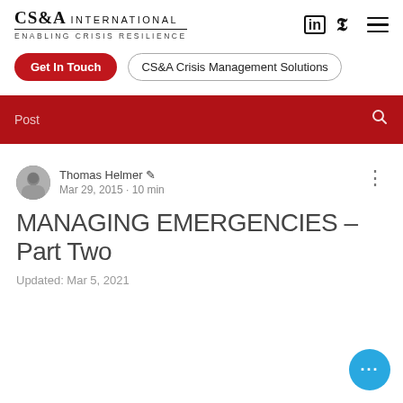[Figure (logo): CS&A International logo with tagline 'Enabling Crisis Resilience']
[Figure (screenshot): Navigation bar with LinkedIn and Twitter social icons and hamburger menu]
[Figure (screenshot): Get In Touch red button and CS&A Crisis Management Solutions outline button]
[Figure (screenshot): Red search bar with placeholder text 'Post' and magnifying glass icon]
[Figure (photo): Circular avatar photo of Thomas Helmer in grayscale]
Thomas Helmer ✏ Mar 29, 2015 • 10 min
MANAGING EMERGENCIES – Part Two
Updated: Mar 5, 2021